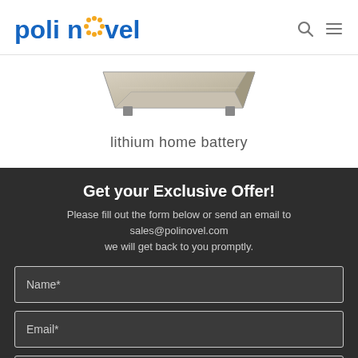[Figure (logo): Polinovel logo in blue text with orange dotted circle replacing the 'o' in 'novel']
[Figure (photo): Product photo of a lithium home battery unit, flat rectangular silver/beige device photographed at angle]
lithium home battery
Get your Exclusive Offer!
Please fill out the form below or send an email to sales@polinovel.com we will get back to you promptly.
Name*
Email*